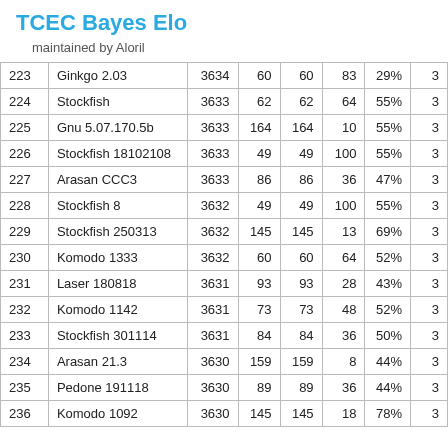TCEC Bayes Elo
maintained by Aloril
| # | Engine | Elo | Games | Games | Opp | % |  |
| --- | --- | --- | --- | --- | --- | --- | --- |
| 223 | Ginkgo 2.03 | 3634 | 60 | 60 | 83 | 29% | 3 |
| 224 | Stockfish | 3633 | 62 | 62 | 64 | 55% | 3 |
| 225 | Gnu 5.07.170.5b | 3633 | 164 | 164 | 10 | 55% | 3 |
| 226 | Stockfish 18102108 | 3633 | 49 | 49 | 100 | 55% | 3 |
| 227 | Arasan CCC3 | 3633 | 86 | 86 | 36 | 47% | 3 |
| 228 | Stockfish 8 | 3632 | 49 | 49 | 100 | 55% | 3 |
| 229 | Stockfish 250313 | 3632 | 145 | 145 | 13 | 69% | 3 |
| 230 | Komodo 1333 | 3632 | 60 | 60 | 64 | 52% | 3 |
| 231 | Laser 180818 | 3631 | 93 | 93 | 28 | 43% | 3 |
| 232 | Komodo 1142 | 3631 | 73 | 73 | 48 | 52% | 3 |
| 233 | Stockfish 301114 | 3631 | 84 | 84 | 36 | 50% | 3 |
| 234 | Arasan 21.3 | 3630 | 159 | 159 | 8 | 44% | 3 |
| 235 | Pedone 191118 | 3630 | 89 | 89 | 36 | 44% | 3 |
| 236 | Komodo 1092 | 3630 | 145 | 145 | 18 | 78% | 3 |